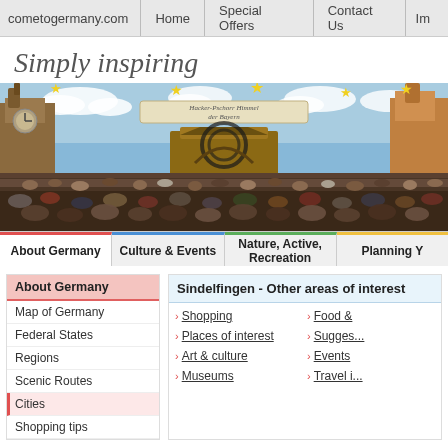cometogermany.com | Home | Special Offers | Contact Us | Im...
Simply inspiring
[Figure (photo): Wide panoramic photo of a large Oktoberfest tent interior with a huge crowd of people, decorative painted ceiling showing Bavarian town scenes and clouds, a central wooden stage/bandstand, and banner reading 'Hacker-Pschorr Himmel der Bayern'.]
About Germany | Culture & Events | Nature, Active, Recreation | Planning Y...
About Germany
Map of Germany
Federal States
Regions
Scenic Routes
Cities
Shopping tips
Sindelfingen - Other areas of interest
Shopping
Places of interest
Art & culture
Museums
Food &...
Sugges...
Events
Travel i...